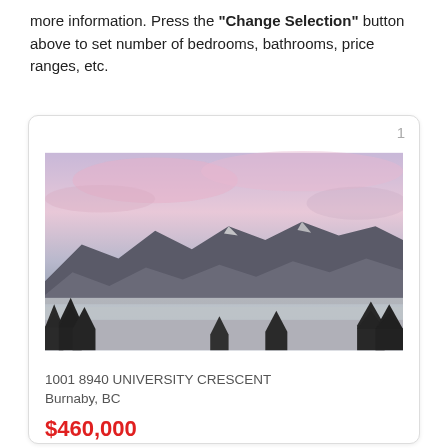more information. Press the "Change Selection" button above to set number of bedrooms, bathrooms, price ranges, etc.
[Figure (photo): Scenic mountain landscape at dusk with pink and purple sky, fog in the valley, and silhouetted evergreen trees in the foreground]
1001 8940 UNIVERSITY CRESCENT
Burnaby, BC
$460,000
0 Bedrooms, 1 Bathroom
483 sq.ft. / 0